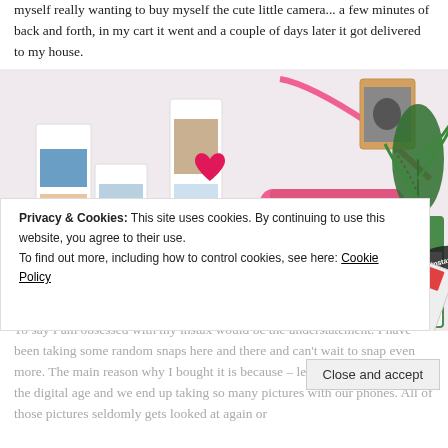myself really wanting to buy myself the cute little camera... a few minutes of back and forth, in my cart it went and a couple of days later it got delivered to my house.
[Figure (photo): Flat lay photo of a pink Fujifilm Instax Mini camera surrounded by film strips with photos, pink heart decorations, instax mini film box, a small framed photo, and a plant on a white surface.]
Privacy & Cookies: This site uses cookies. By continuing to use this website, you agree to their use. To find out more, including how to control cookies, see here: Cookie Policy
To say I am obsessed with my instax would be the understatement. I have been taking some random snaps here and there and can't wait to snap even more. The main reason why I bought it is because – let's face it, we live in the digital age and we end up taking so many pictures with our phones. All of those pictures seldomly gets looked at again or